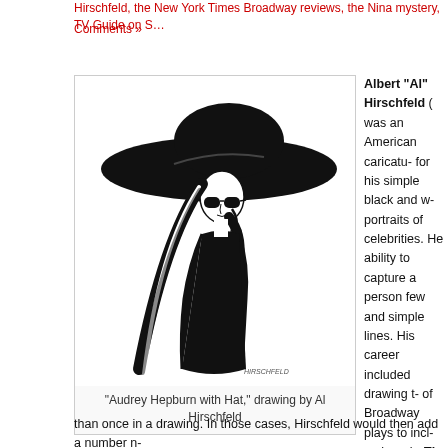Hirschfeld, the New York Times Broadway reviews, the Nina mystery, TV Guide on S... Comments »
[Figure (illustration): Black and white caricature drawing titled 'Audrey Hepburn with Hat,' drawing by Al Hirschfeld. Shows a stylized figure of a woman in a large black wide-brim hat and black dress, holding something to her face.]
"Audrey Hepburn with Hat," drawing by Al Hirschfeld
Albert "Al" Hirschfeld ( was an American caricatu- for his simple black and w- portraits of celebrities. He ability to capture a person few and simple lines. His career included drawing t- of Broadway plays to incl- reviews in The New York illustrating the covers of n- Guide issues.
Hirschfeld achieved additi- hiding the name of his da- most of his drawings. The "Nina" would be scrawled sleeve, the locks of an ac- hair, or somewhere in the occasion, "Nina" would sh-
than once in a drawing. In those cases, Hirschfeld would then add a number n-